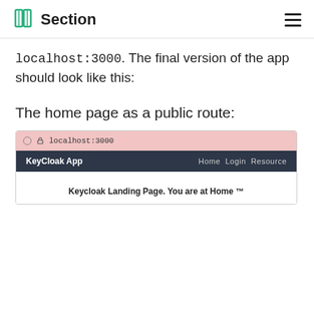Section
localhost:3000. The final version of the app should look like this:
The home page as a public route:
[Figure (screenshot): Browser screenshot showing a web app at localhost:3000 with a pink browser bar, and a dark navbar with 'KeyCloak App' on the left and 'Home Login Resource' on the right. Below shows 'Keycloak Landing Page. You are at Home ™']